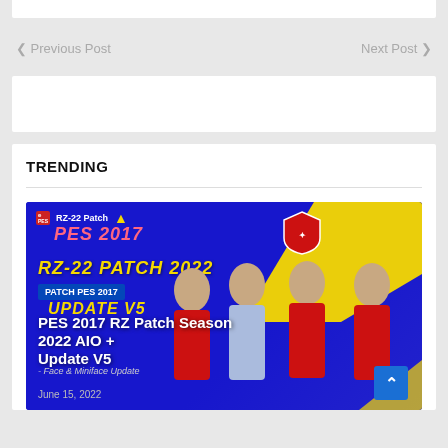< Previous Post    Next Post >
[Figure (screenshot): Ad placeholder box]
TRENDING
[Figure (screenshot): PES 2017 RZ Patch Season 2022 AIO + Update V5 thumbnail image with football players and blue/yellow background]
PES 2017 RZ Patch Season 2022 AIO + Update V5
June 15, 2022